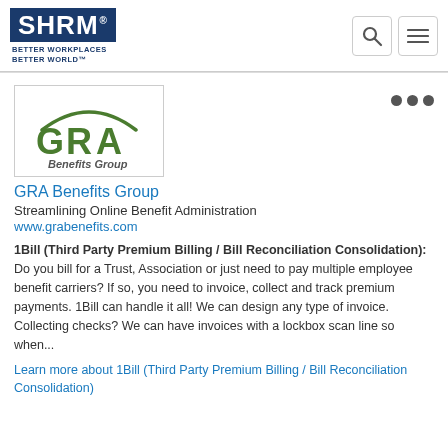[Figure (logo): SHRM logo with tagline 'BETTER WORKPLACES BETTER WORLD']
[Figure (logo): GRA Benefits Group logo with green arc and text]
GRA Benefits Group
Streamlining Online Benefit Administration
www.grabenefits.com
1Bill (Third Party Premium Billing / Bill Reconciliation Consolidation): Do you bill for a Trust, Association or just need to pay multiple employee benefit carriers? If so, you need to invoice, collect and track premium payments. 1Bill can handle it all! We can design any type of invoice. Collecting checks? We can have invoices with a lockbox scan line so when...
Learn more about 1Bill (Third Party Premium Billing / Bill Reconciliation Consolidation)